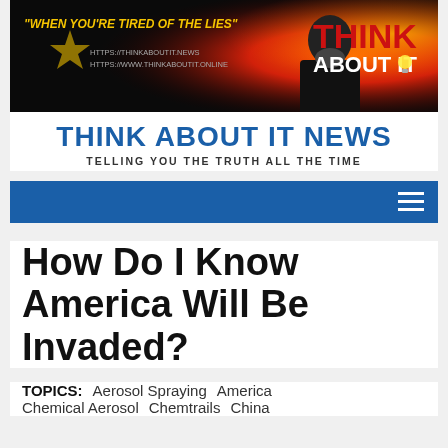[Figure (illustration): Website banner for Think About It News. Dark background with fire/flames on the right side. An older bald man with a beard is visible on the right. Text reads: '"WHEN YOU'RE TIRED OF THE LIES"' in yellow on left side, URLs 'HTTPS://THINKABOUTIT.NEWS' and 'HTTPS://WWW.THINKABOUTIT.ONLINE' below, and large bold text 'THINK ABOUT IT' with a lightbulb icon on the right in white and red.]
THINK ABOUT IT NEWS
TELLING YOU THE TRUTH ALL THE TIME
[Figure (screenshot): Blue navigation bar with hamburger menu icon (three horizontal white lines) on the right side.]
How Do I Know America Will Be Invaded?
TOPICS:   Aerosol Spraying   America   Chemical Aerosol   Chemtrails   China